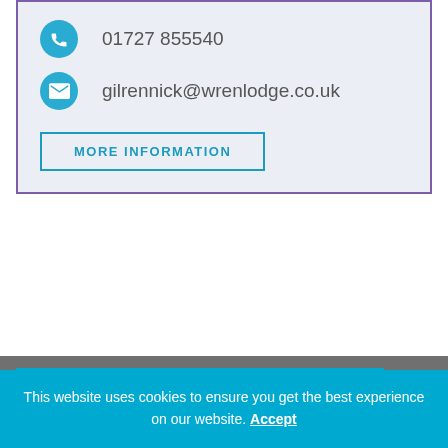01727 855540
gilrennick@wrenlodge.co.uk
MORE INFORMATION
[Figure (other): Partial blue card with circular logo visible at bottom gray section]
This website uses cookies to ensure you get the best experience on our website. Accept